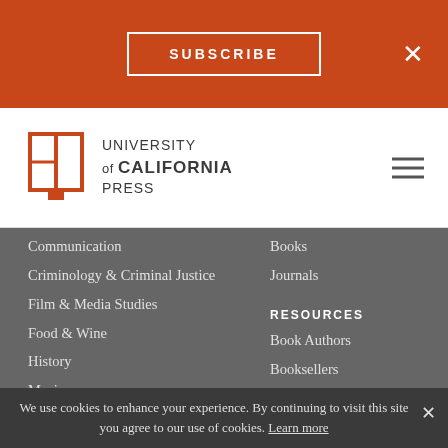SUBSCRIBE
[Figure (logo): University of California Press logo with book/open-pages icon]
Communication
Criminology & Criminal Justice
Film & Media Studies
Food & Wine
History
Music
Psychology
Religion
Sociology
Browse All Disciplines
SUPPORT US
Endowments
Books
Journals
RESOURCES
Book Authors
Booksellers
Instructors
Journal Authors & Editors
Librarians
Media & Journalists
CONTACT US
We use cookies to enhance your experience. By continuing to visit this site you agree to our use of cookies. Learn more